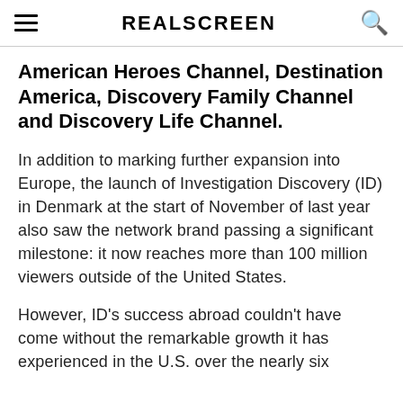REALSCREEN
American Heroes Channel, Destination America, Discovery Family Channel and Discovery Life Channel.
In addition to marking further expansion into Europe, the launch of Investigation Discovery (ID) in Denmark at the start of November of last year also saw the network brand passing a significant milestone: it now reaches more than 100 million viewers outside of the United States.
However, ID's success abroad couldn't have come without the remarkable growth it has experienced in the U.S. over the nearly six